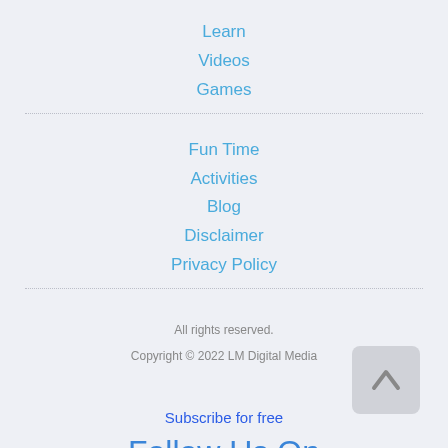Learn
Videos
Games
Fun Time
Activities
Blog
Disclaimer
Privacy Policy
All rights reserved.
Copyright © 2022 LM Digital Media
Subscribe for free
Follow Us On